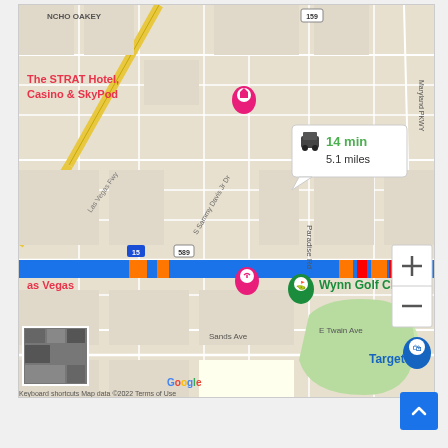[Figure (map): Google Maps screenshot showing a driving route in Las Vegas, NV. The map shows The STRAT Hotel, Casino & SkyPod, Wynn Golf Club, and Target as points of interest. A route along highway 589/15 is highlighted in blue. A callout bubble shows '14 min, 5.1 miles'. Road labels include E St Louis Ave, Paradise Rd, S Sammy Davis Jr Dr, Las Vegas Fwy, Sands Ave, E Twain Ave. Street signs for routes 15, 159, and 589 are visible. Zoom controls (+/-) appear in the lower right. A satellite view thumbnail is in the lower left. The footer shows 'Keyboard shortcuts  Map data ©2022  Terms of Use'.]